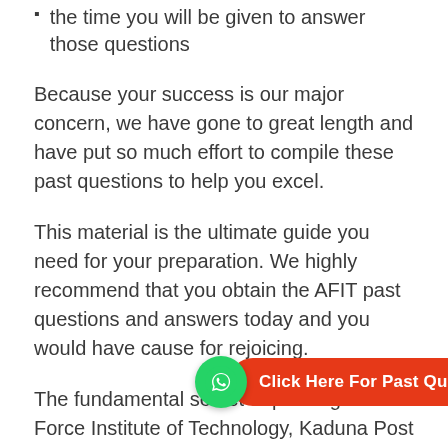how many questions will be given and
the time you will be given to answer those questions
Because your success is our major concern, we have gone to great length and have put so much effort to compile these past questions to help you excel.
This material is the ultimate guide you need for your preparation. We highly recommend that you obtain the AFIT past questions and answers today and you would have cause for rejoicing.
The fundamental secret to passing the Air Force Institute of Technology, Kaduna Post UTME examination is to know the previous questions. Nothing is new. This is the best strategy ever.
[Figure (infographic): WhatsApp icon button with red rounded rectangle reading 'Click Here For Past Questions']
This material will give you a preview of what to expect during the aptitude test. Remember, AFIT admission is always based on merit. There is no shortcut to